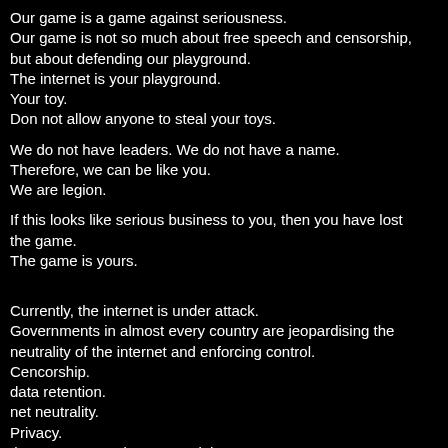Our game is a game against seriousness.
Our game is not so much about free speech and censorship, but about defending our playground.
The internet is your playground.
Your toy.
Don not allow anyone to steal your toys.
We do not have leaders. We do not have a name.
Therefore, we can be like you.
We are legion.
If this looks like serious business to you, then you have lost the game.
The game is yours.
Currently, the internet is under attack.
Governments in almost every country are jeopardising the neutrality of the internet and enforcing control.
Cencorship.
data retention.
net neutrality.
Privacy.
they want us to give up our right to stay anonymous.